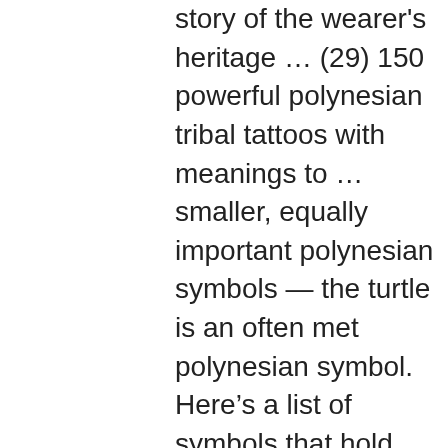story of the wearer's heritage … (29) 150 powerful polynesian tribal tattoos with meanings to … smaller, equally important polynesian symbols — the turtle is an often met polynesian symbol. Here's a list of symbols that hold special meanings to them: sea turtles and shells: there's a strong association between sea turtle tattoos and facts about these marine creatures. these animals are known to be long lived and mind their own business. hawaiian tattoos that take this design also have similar meanings. In current tattoo designs, you will find a variety of these symbols associated with hawaiian tattoos. one of the most popular designs in hawaii is the hibiscus flower tattoo. the flower is symbolic to the women of hawaii, and is actually the state flower. ancient